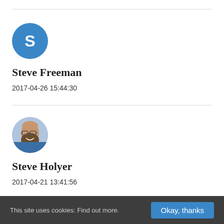[Figure (illustration): Blue circle avatar with white letter S for Steve Freeman]
Steve Freeman
2017-04-26 15:44:30
[Figure (photo): Circular profile photo of Steve Holyer, a man with beard and glasses smiling]
Steve Holyer
2017-04-21 13:41:56
This site uses cookies: Find out more.  Okay, thanks